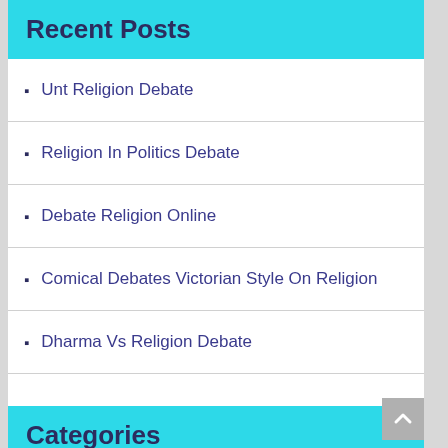Recent Posts
Unt Religion Debate
Religion In Politics Debate
Debate Religion Online
Comical Debates Victorian Style On Religion
Dharma Vs Religion Debate
Categories
Business
Main
Outdoors
Random
Religion